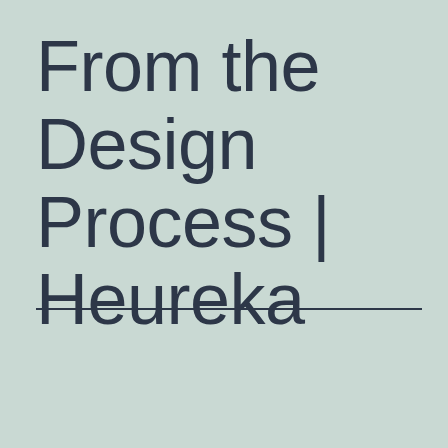From the Design Process | Heureka